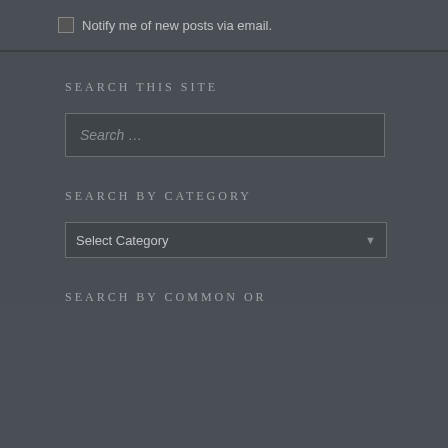Notify me of new posts via email.
SEARCH THIS SITE
[Figure (screenshot): Search input box with placeholder text 'Search ...']
SEARCH BY CATEGORY
[Figure (screenshot): Dropdown select box showing 'Select Category']
SEARCH BY COMMON OR